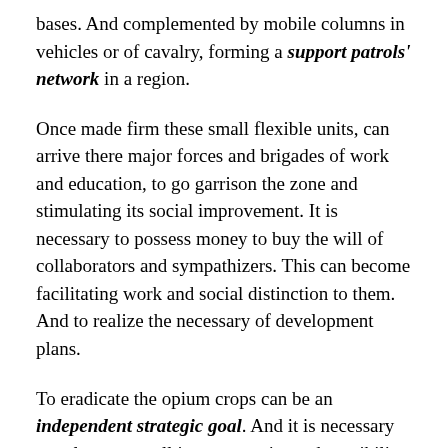bases. And complemented by mobile columns in vehicles or of cavalry, forming a support patrols' network in a region.
Once made firm these small flexible units, can arrive there major forces and brigades of work and education, to go garrison the zone and stimulating its social improvement. It is necessary to possess money to buy the will of collaborators and sympathizers. This can become facilitating work and social distinction to them. And to realize the necessary of development plans.
To eradicate the opium crops can be an independent strategic goal. And it is necessary to value very well its opportunity and possibility for every small zone. It is necessary to offer the natives an alternative of peace, progress and well-being, within their beliefs and ways, in order that they expel the